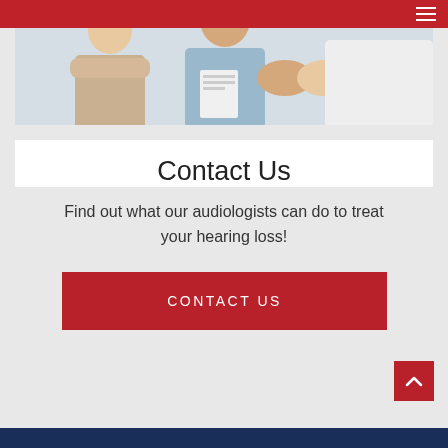[Figure (photo): Doctor in light blue shirt shaking hands with a patient, medical consultation scene]
Contact Us
Find out what our audiologists can do to treat your hearing loss!
CONTACT US